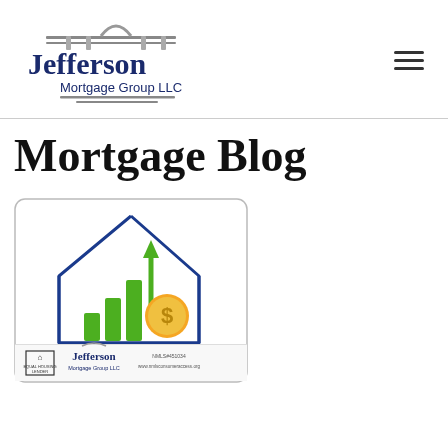[Figure (logo): Jefferson Mortgage Group LLC logo with building/arch icon above the text]
Mortgage Blog
[Figure (illustration): Illustration of a house outline with rising green bar chart and gold dollar coin inside, Jefferson Mortgage Group LLC branding at bottom with equal housing lender logo and NMLS number]